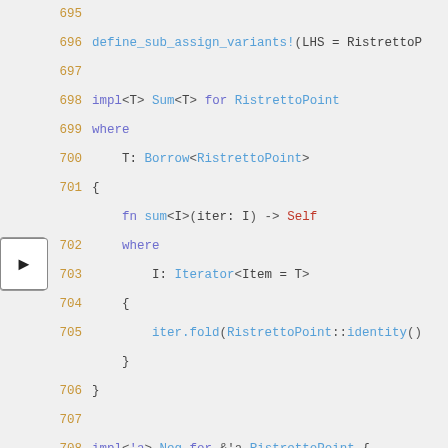[Figure (screenshot): Code editor screenshot showing Rust source code lines 695-715 implementing Sum and Neg traits for RistrettoPoint, with syntax highlighting. An arrow button is visible on the left side at line 700.]